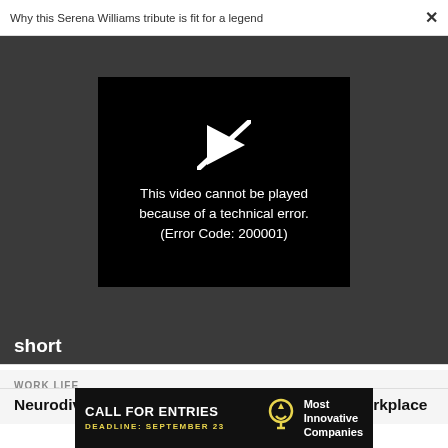Why this Serena Williams tribute is fit for a legend
[Figure (screenshot): Video player showing error: 'This video cannot be played because of a technical error. (Error Code: 200001)' with a crossed-out play button icon on black background, within a dark gray player area.]
short
WORK LIFE
Neurodiversity is critical for innovation in the workplace
[Figure (infographic): Advertisement banner: CALL FOR ENTRIES, DEADLINE: SEPTEMBER 23, Most Innovative Companies, with a lightbulb icon.]